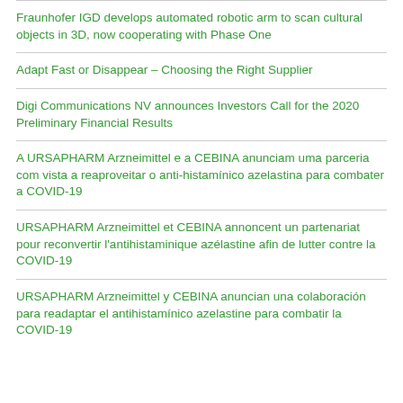Fraunhofer IGD develops automated robotic arm to scan cultural objects in 3D, now cooperating with Phase One
Adapt Fast or Disappear – Choosing the Right Supplier
Digi Communications NV announces Investors Call for the 2020 Preliminary Financial Results
A URSAPHARM Arzneimittel e a CEBINA anunciam uma parceria com vista a reaproveitar o anti-histamínico azelastina para combater a COVID-19
URSAPHARM Arzneimittel et CEBINA annoncent un partenariat pour reconvertir l'antihistaminique azélastine afin de lutter contre la COVID-19
URSAPHARM Arzneimittel y CEBINA anuncian una colaboración para readaptar el antihistamínico azelastine para combatir la COVID-19